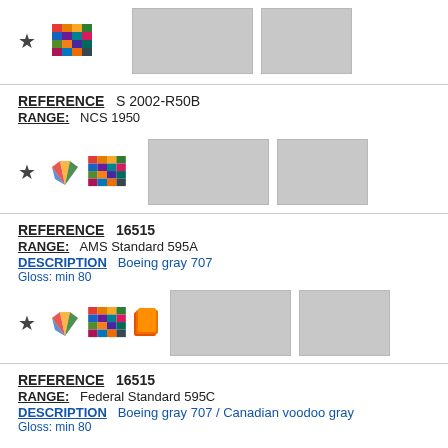[Figure (other): Star icon, color grid icon, two gray color swatch blocks]
REFERENCE   S 2002-R50B
RANGE:   NCS 1950
[Figure (other): Star icon, color fan icon, color grid icon, two gray color swatch blocks]
REFERENCE   16515
RANGE:   AMS Standard 595A
DESCRIPTION   Boeing gray 707
Gloss: min 80
[Figure (other): Star icon, color fan icon, color grid icon, orange chip icon, two gray color swatch blocks]
REFERENCE   16515
RANGE:   Federal Standard 595C
DESCRIPTION   Boeing gray 707 / Canadian voodoo gray
Gloss: min 80